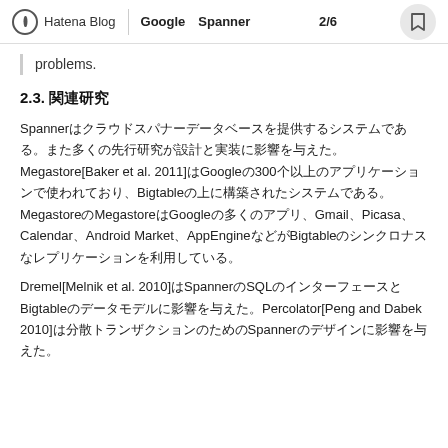Hatena Blog | Google Spanner　2/6
problems.
2.3. 関連研究
Spannerの設計と実装には多くの先行研究が影響を与えた。Megastore[Baker et al. 2011]はGoogleの300以上のアプリケーションで使われており、Bigtableの上に構築されたMegastoreはMegastoreはGoogleの多くのアプリ、Gmail、Picasa、Calendar、Android Market、AppEngineなどがBigtableよりも豊かなスキーマサポートと同期レプリケーションを提供する。
Dremel[Melnik et al. 2010]はSpannerのSQLのインターフェースとBigtableのデータモデルに影響を与えた。Percolator[Peng and Dabek 2010]は分散トランザクションのためのSpannerのデザインに影響を与えた。